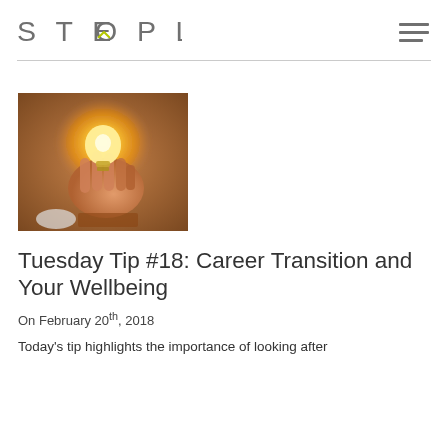STEOPLE
[Figure (photo): A hand holding a glowing light bulb over a desk with a laptop and notepad in the background.]
Tuesday Tip #18: Career Transition and Your Wellbeing
On February 20th, 2018
Today's tip highlights the importance of looking after